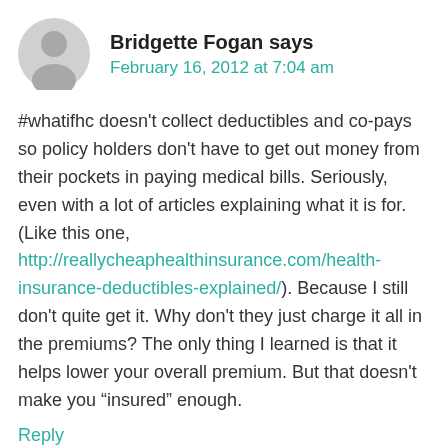[Figure (illustration): Gray silhouette avatar icon of a person, circular shape]
Bridgette Fogan says
February 16, 2012 at 7:04 am
#whatifhc doesn't collect deductibles and co-pays so policy holders don't have to get out money from their pockets in paying medical bills. Seriously, even with a lot of articles explaining what it is for. (Like this one, http://reallycheaphealthinsurance.com/health-insurance-deductibles-explained/). Because I still don't quite get it. Why don't they just charge it all in the premiums? The only thing I learned is that it helps lower your overall premium. But that doesn't make you “insured” enough.
Reply